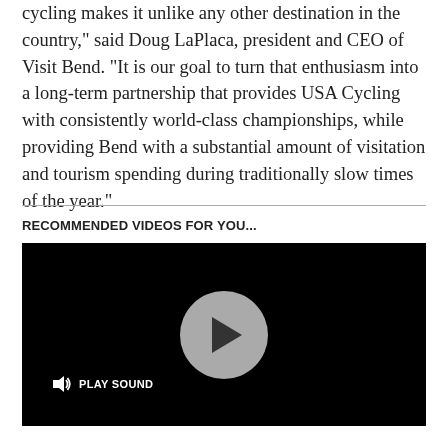cycling makes it unlike any other destination in the country," said Doug LaPlaca, president and CEO of Visit Bend. "It is our goal to turn that enthusiasm into a long-term partnership that provides USA Cycling with consistently world-class championships, while providing Bend with a substantial amount of visitation and tourism spending during traditionally slow times of the year."
RECOMMENDED VIDEOS FOR YOU...
[Figure (screenshot): Black video player with a grey circular play button in the center and a 'PLAY SOUND' button with speaker icon in the lower left corner.]